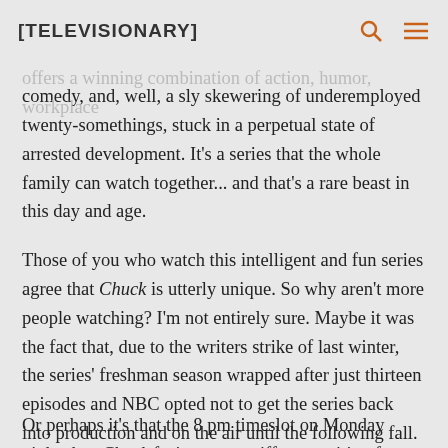[TELEVISIONARY]
television right now wouldn't be the same without Chuck which offers a winning combination of action, humor, workplace comedy, and, well, a sly skewering of underemployed twenty-somethings, stuck in a perpetual state of arrested development. It's a series that the whole family can watch together... and that's a rare beast in this day and age.
Those of you who watch this intelligent and fun series agree that Chuck is utterly unique. So why aren't more people watching? I'm not entirely sure. Maybe it was the fact that, due to the writers strike of last winter, the series' freshman season wrapped after just thirteen episodes and NBC opted not to get the series back into production and on the air until the following fall.
Or perhaps it's that the 8 pm timeslot on Monday nights has Chuck facing some stiff competition from Two and a Half Men